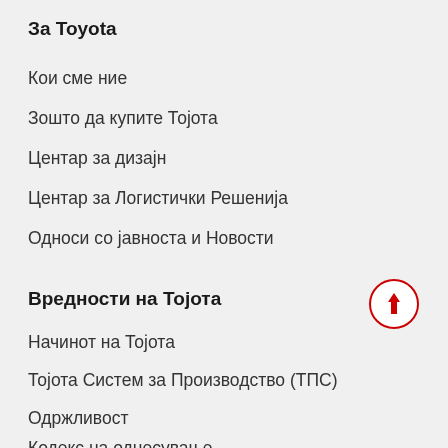За Toyota
Кои сме ние
Зошто да купите Тојота
Центар за дизајн
Центар за Логистички Решенија
Односи со јавноста и Новости
Вредности на Тојота
Начинот на Тојота
Тојота Систем за Производство (ТПС)
Одржливост
Кодекс на однесување